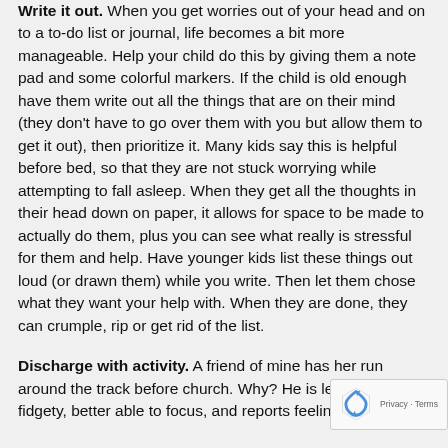Write it out. When you get worries out of your head and on to a to-do list or journal, life becomes a bit more manageable. Help your child do this by giving them a note pad and some colorful markers. If the child is old enough have them write out all the things that are on their mind (they don't have to go over them with you but allow them to get it out), then prioritize it. Many kids say this is helpful before bed, so that they are not stuck worrying while attempting to fall asleep. When they get all the thoughts in their head down on paper, it allows for space to be made to actually do them, plus you can see what really is stressful for them and help. Have younger kids list these things out loud (or drawn them) while you write. Then let them chose what they want your help with. When they are done, they can crumple, rip or get rid of the list.
Discharge with activity. A friend of mine has her run around the track before church. Why? He is les fidgety, better able to focus, and reports feeling calm...